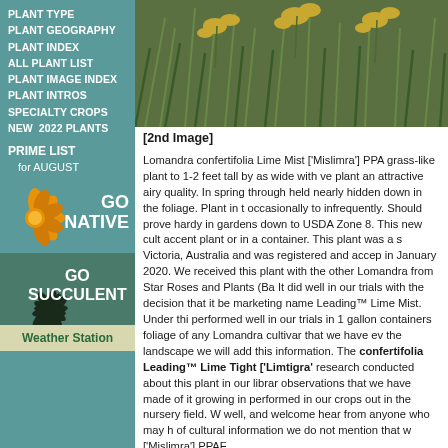PLANT TYPE
PLANT GEOGRAPHY
PLANT INDEX
ALL PLANT LIST
PLANT IMAGE INDEX
PLANT INTROS
SPECIALTY CROPS
NEW  2022 PLANTS
PRIME LIST for AUGUST
[Figure (illustration): GO NATIVE banner with orange flower illustration]
[Figure (illustration): GO SUCCULENT banner with dark succulent plant illustration]
Weather Station
[Figure (photo): Close-up photo of Lomandra confertifolia Lime Mist plant showing grass-like foliage with yellow flower clusters]
[2nd Image]
Lomandra confertifolia Lime Mist ['Mislimra'] PPA grass-like plant to 1-2 feet tall by as wide with ve plant an attractive airy quality. In spring through held nearly hidden down in the foliage. Plant in t occasionally to infrequently. Should prove hardy in gardens down to USDA Zone 8. This new cult accent plant or in a container. This plant was a s Victoria, Australia and was registered and accep in January 2020. We received this plant with the other Lomandra from Star Roses and Plants (Ba It did well in our trials with the decision that it be marketing name Leading™ Lime Mist. Under thi performed well in our trials in 1 gallon containers foliage of any Lomandra cultivar that we have ev the landscape we will add this information. The confertifolia Leading™ Lime Tight ['Limtigra' research conducted about this plant in our librar observations that we have made of it growing in performed in our crops out in the nursery field. W well, and welcome hear from anyone who may h of cultural information we do not mention that w ['Mislimra'] PPAF.